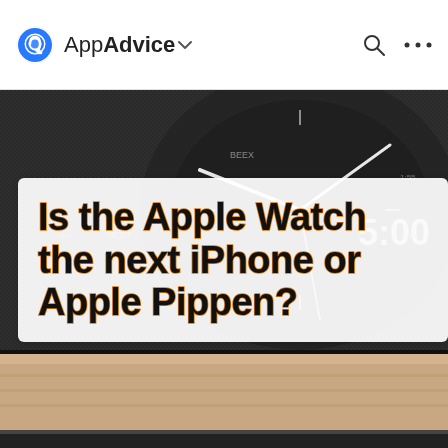AppAdvice
[Figure (screenshot): Dark background showing an Apple Watch face with clock hands and time display showing 5:00, with a sandy/tan colored band partially visible at the bottom. Dark grainy/halftone textured overlay.]
Is the Apple Watch the next iPhone or Apple Pippen?